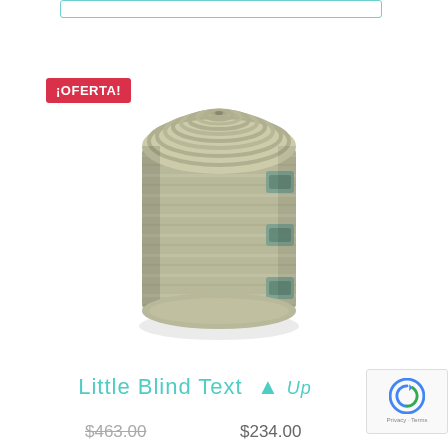[Figure (other): Top search bar outline, teal/turquoise border rectangle]
¡OFERTA!
[Figure (photo): A rolled elastic bandage/compression bandage with metal clips, beige/khaki color, photographed on white background]
Little Blind Text  ▲ Up
$463.00   $234.00